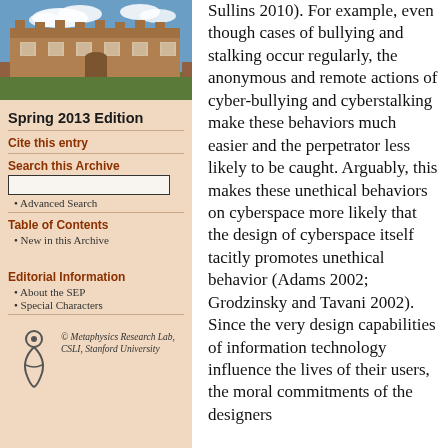[Figure (photo): Photo of a historic stone university building with blue sky and clouds]
Spring 2013 Edition
Cite this entry
Search this Archive
• Advanced Search
Table of Contents
• New in this Archive
Editorial Information
• About the SEP
• Special Characters
© Metaphysics Research Lab, CSLI, Stanford University
Sullins 2010). For example, even though cases of bullying and stalking occur regularly, the anonymous and remote actions of cyber-bullying and cyberstalking make these behaviors much easier and the perpetrator less likely to be caught. Arguably, this makes these unethical behaviors on cyberspace more likely that the design of cyberspace itself tacitly promotes unethical behavior (Adams 2002; Grodzinsky and Tavani 2002). Since the very design capabilities of information technology influence the lives of their users, the moral commitments of the designers